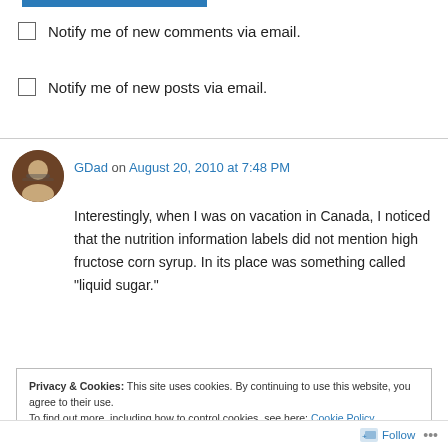Notify me of new comments via email.
Notify me of new posts via email.
GDad on August 20, 2010 at 7:48 PM
Interestingly, when I was on vacation in Canada, I noticed that the nutrition information labels did not mention high fructose corn syrup. In its place was something called "liquid sugar."
Privacy & Cookies: This site uses cookies. By continuing to use this website, you agree to their use. To find out more, including how to control cookies, see here: Cookie Policy
Close and accept
Follow